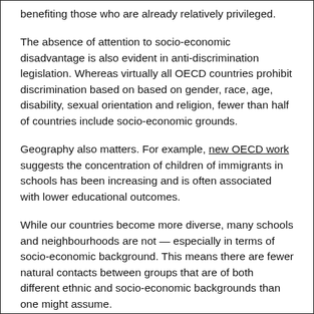benefiting those who are already relatively privileged.
The absence of attention to socio-economic disadvantage is also evident in anti-discrimination legislation. Whereas virtually all OECD countries prohibit discrimination based on based on gender, race, age, disability, sexual orientation and religion, fewer than half of countries include socio-economic grounds.
Geography also matters. For example, new OECD work suggests the concentration of children of immigrants in schools has been increasing and is often associated with lower educational outcomes.
While our countries become more diverse, many schools and neighbourhoods are not — especially in terms of socio-economic background. This means there are fewer natural contacts between groups that are of both different ethnic and socio-economic backgrounds than one might assume.
Companies need to develop recruitment channels that target those in different neighbourhoods and who have